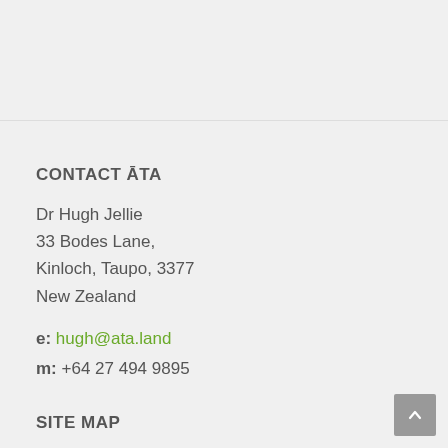CONTACT ĀTA
Dr Hugh Jellie
33 Bodes Lane,
Kinloch, Taupo, 3377
New Zealand
e: hugh@ata.land
m: +64 27 494 9895
SITE MAP
Home
Services